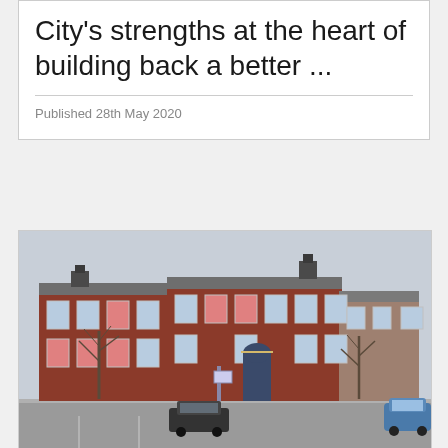City's strengths at the heart of building back a better ...
Published 28th May 2020
[Figure (photo): A large red-brick Georgian or Victorian civic building photographed from street level. The building has multiple tall windows with red curtains visible, a central arched entrance doorway, and ornate stonework. There are bare trees in front of the building and a car park in the foreground. A blue hatchback car is parked to the right.]